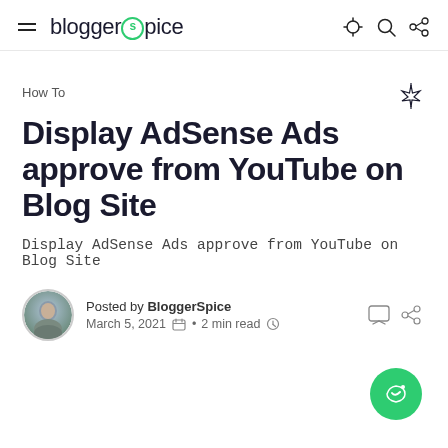bloggerspice
How To
Display AdSense Ads approve from YouTube on Blog Site
Display AdSense Ads approve from YouTube on Blog Site
Posted by BloggerSpice
March 5, 2021 • 2 min read